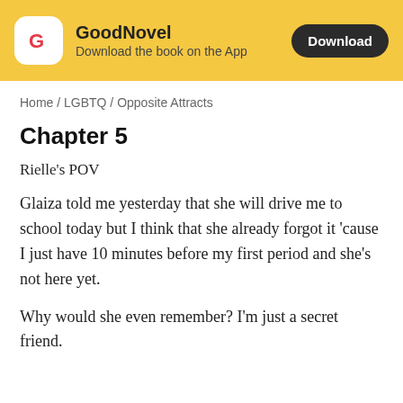[Figure (logo): GoodNovel app banner with logo, app name, subtitle and Download button on yellow background]
Home / LGBTQ / Opposite Attracts
Chapter 5
Rielle's POV
Glaiza told me yesterday that she will drive me to school today but I think that she already forgot it 'cause I just have 10 minutes before my first period and she's not here yet.
Why would she even remember? I'm just a secret friend.